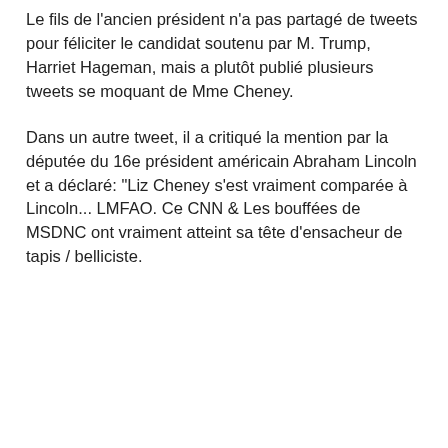Le fils de l'ancien président n'a pas partagé de tweets pour féliciter le candidat soutenu par M. Trump, Harriet Hageman, mais a plutôt publié plusieurs tweets se moquant de Mme Cheney.
Dans un autre tweet, il a critiqué la mention par la députée du 16e président américain Abraham Lincoln et a déclaré: "Liz Cheney s'est vraiment comparée à Lincoln... LMFAO. Ce CNN & Les bouffées de MSDNC ont vraiment atteint sa tête d'ensacheur de tapis / belliciste.